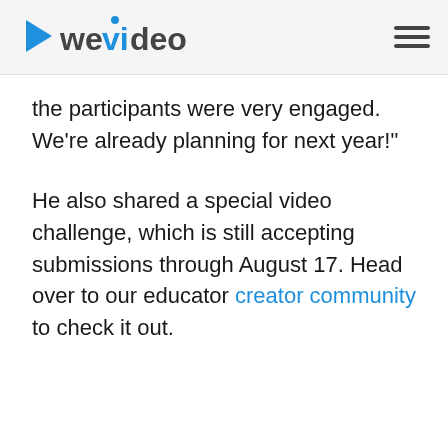WeVideo [logo with hamburger menu]
the participants were very engaged. We're already planning for next year!"
He also shared a special video challenge, which is still accepting submissions through August 17. Head over to our educator creator community to check it out.